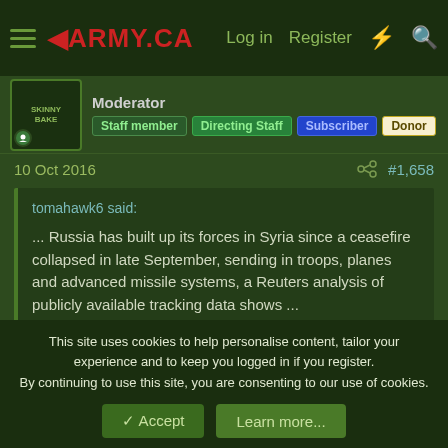ARMY.CA — Log in  Register
Moderator  Staff member  Directing Staff  Subscriber  Donor
10 Oct 2016  #1,658
tomahawk6 said:
... Russia has built up its forces in Syria since a ceasefire collapsed in late September, sending in troops, planes and advanced missile systems, a Reuters analysis of publicly available tracking data shows ...
RUS air force/aerospace forces in SYR indefinitely? Check.
RUS turning SYR naval base into permanent presence? Check.
This site uses cookies to help personalise content, tailor your experience and to keep you logged in if you register.
By continuing to use this site, you are consenting to our use of cookies.